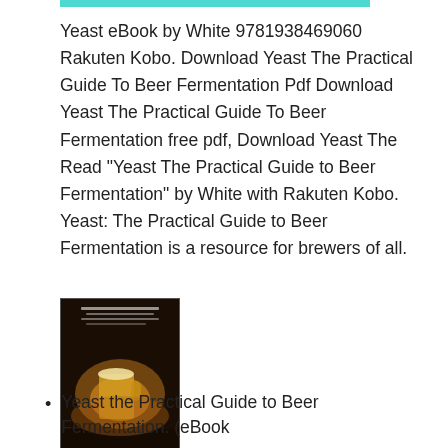Yeast eBook by White 9781938469060 Rakuten Kobo. Download Yeast The Practical Guide To Beer Fermentation Pdf Download Yeast The Practical Guide To Beer Fermentation free pdf, Download Yeast The Read "Yeast The Practical Guide to Beer Fermentation" by White with Rakuten Kobo. Yeast: The Practical Guide to Beer Fermentation is a resource for brewers of all.
[Figure (photo): Book cover image for Yeast: The Practical Guide to Beer Fermentation, dark background with a beer mug image]
Yeast the Practical Guide to Beer Fermentation. (eBook
Yeast eBook by White 9781938469060 Rakuten Kobo.